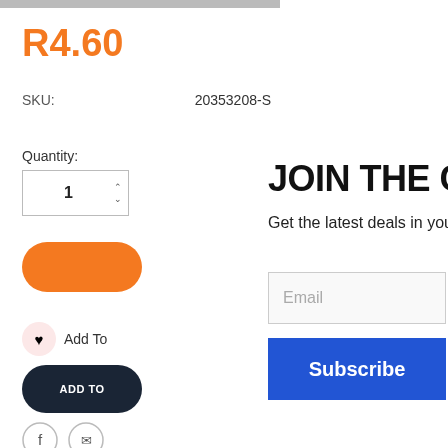R4.60
SKU: 20353208-S
Quantity:
1
Add To
ADD TO
JOIN THE CLUB
Get the latest deals in your inbox
Email
Subscribe